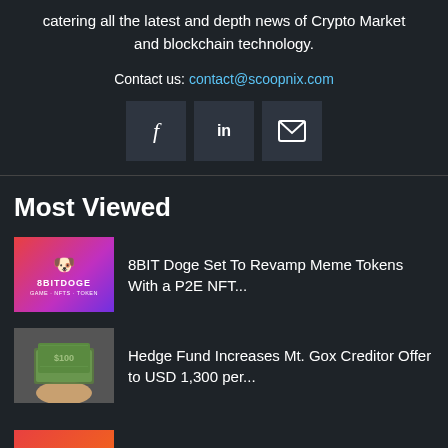catering all the latest and depth news of Crypto Market and blockchain technology.
Contact us: contact@scoopnix.com
[Figure (infographic): Three social media icon buttons: Facebook (f), LinkedIn (in), and email (envelope icon)]
Most Viewed
[Figure (photo): 8BITDOGE logo on gradient red-to-purple background with dog mascot and text GAME · NFTS · TOKEN]
8BIT Doge Set To Revamp Meme Tokens With a P2E NFT...
[Figure (photo): Hand holding a fan of US dollar bills]
Hedge Fund Increases Mt. Gox Creditor Offer to USD 1,300 per...